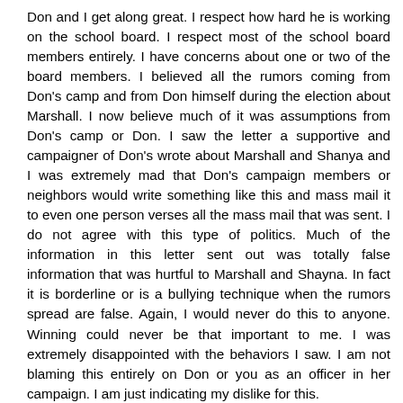Don and I get along great. I respect how hard he is working on the school board. I respect most of the school board members entirely. I have concerns about one or two of the board members. I believed all the rumors coming from Don's camp and from Don himself during the election about Marshall. I now believe much of it was assumptions from Don's camp or Don. I saw the letter a supportive and campaigner of Don's wrote about Marshall and Shanya and I was extremely mad that Don's campaign members or neighbors would write something like this and mass mail it to even one person verses all the mass mail that was sent. I do not agree with this type of politics. Much of the information in this letter sent out was totally false information that was hurtful to Marshall and Shayna. In fact it is borderline or is a bullying technique when the rumors spread are false. Again, I would never do this to anyone. Winning could never be that important to me. I was extremely disappointed with the behaviors I saw. I am not blaming this entirely on Don or you as an officer in her campaign. I am just indicating my dislike for this.
I am so impressed with Dr. Speaks and the appointment